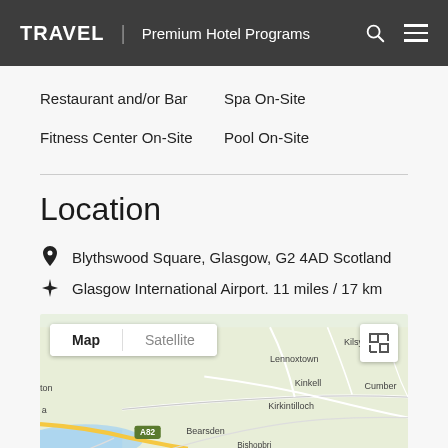TRAVEL | Premium Hotel Programs
Restaurant and/or Bar
Spa On-Site
Fitness Center On-Site
Pool On-Site
Location
Blythswood Square, Glasgow, G2 4AD Scotland
Glasgow International Airport. 11 miles / 17 km
[Figure (map): Google Map showing area around Glasgow, Scotland, with Map/Satellite toggle and areas including Lennoxtown, Kinkell, Kirkintilloch, Bearsden, A82 road, and partial labels for Kilsyth and Cumberland visible.]